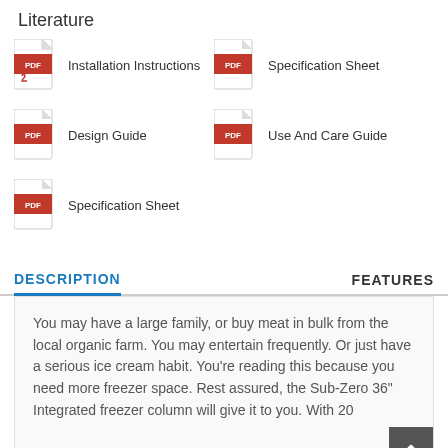Literature
Installation Instructions
Specification Sheet
Design Guide
Use And Care Guide
Specification Sheet
DESCRIPTION
FEATURES
You may have a large family, or buy meat in bulk from the local organic farm. You may entertain frequently. Or just have a serious ice cream habit. You're reading this because you need more freezer space. Rest assured, the Sub-Zero 36" Integrated freezer column will give it to you. With 20